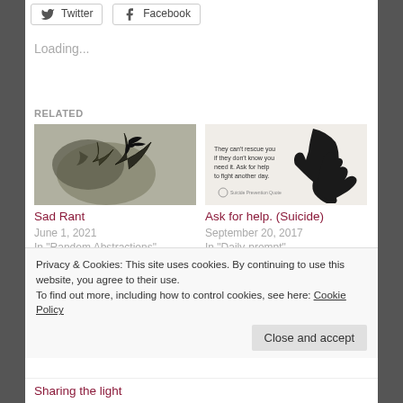[Figure (screenshot): Social share buttons: Twitter and Facebook]
Loading...
RELATED
[Figure (photo): Black and white photo of bird in tree for Sad Rant post]
Sad Rant
June 1, 2021
In "Random Abstractions"
[Figure (illustration): Silhouette of hands reaching, text: They can't rescue you if they don't know you need it. Ask for help to fight another day.]
Ask for help. (Suicide)
September 20, 2017
In "Daily-prompt"
Privacy & Cookies: This site uses cookies. By continuing to use this website, you agree to their use.
To find out more, including how to control cookies, see here: Cookie Policy
Close and accept
Sharing the light